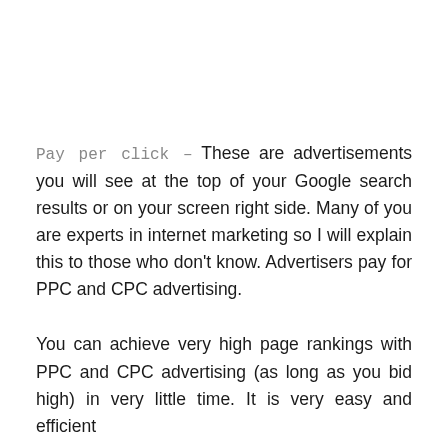Pay per click – These are advertisements you will see at the top of your Google search results or on your screen right side. Many of you are experts in internet marketing so I will explain this to those who don't know. Advertisers pay for PPC and CPC advertising.
You can achieve very high page rankings with PPC and CPC advertising (as long as you bid high) in very little time. It is very easy and efficient